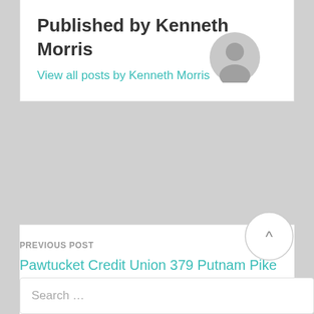Published by Kenneth Morris
View all posts by Kenneth Morris
PREVIOUS POST
Pawtucket Credit Union 379 Putnam Pike Smithfield, RI 2917
NEXT POST
15 Years Mortgage Interest Rate
Search …